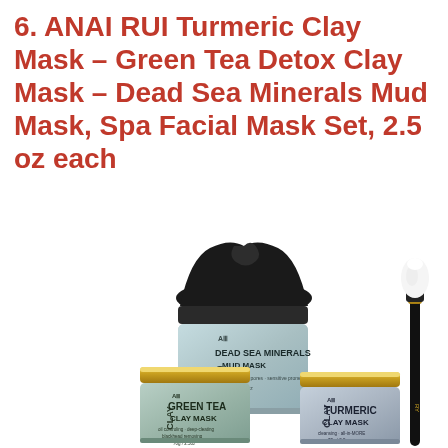6. ANAI RUI Turmeric Clay Mask – Green Tea Detox Clay Mask – Dead Sea Minerals Mud Mask, Spa Facial Mask Set, 2.5 oz each
[Figure (photo): Product photo showing three clay mask jars (Dead Sea Minerals Mud Mask with black mud on top, Green Tea Clay Mask, Turmeric Clay Mask) and a black makeup brush with white tip, arranged together on a white background.]